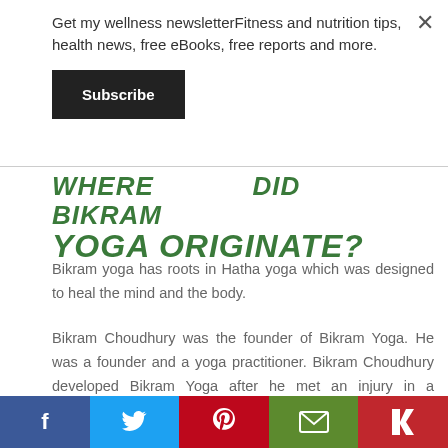Get my wellness newsletterFitness and nutrition tips, health news, free eBooks, free reports and more.
Subscribe
WHERE DID BIKRAM YOGA ORIGINATE?
Bikram yoga has roots in Hatha yoga which was designed to heal the mind and the body.
Bikram Choudhury was the founder of Bikram Yoga. He was a founder and a yoga practitioner. Bikram Choudhury developed Bikram Yoga after he met an injury in a weightlifting accident.
f  Twitter  Pinterest  Email  Flipboard